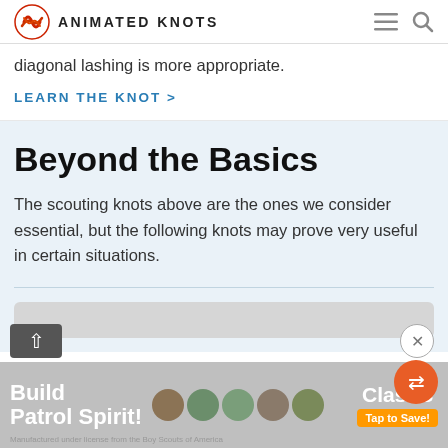ANIMATED KNOTS
diagonal lashing is more appropriate.
LEARN THE KNOT >
Beyond the Basics
The scouting knots above are the ones we consider essential, but the following knots may prove very useful in certain situations.
[Figure (other): Advertisement banner showing Boy Scout merit badges with text 'Build Patrol Spirit!' and 'ClassB Tap to Save!']